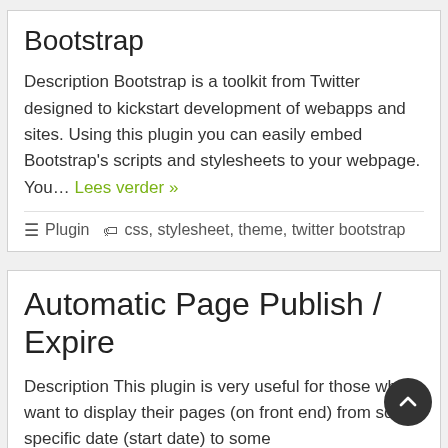Bootstrap
Description Bootstrap is a toolkit from Twitter designed to kickstart development of webapps and sites. Using this plugin you can easily embed Bootstrap’s scripts and stylesheets to your webpage. You... Lees verder »
Plugin   css, stylesheet, theme, twitter bootstrap
Automatic Page Publish / Expire
Description This plugin is very useful for those who want to display their pages (on front end) from some specific date (start date) to some